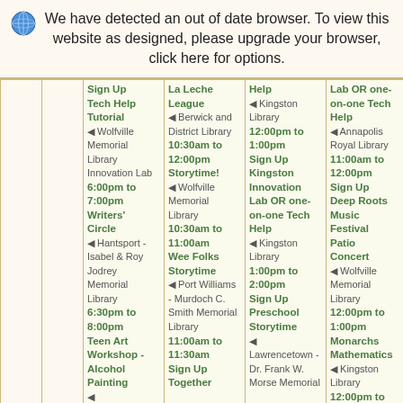We have detected an out of date browser. To view this website as designed, please upgrade your browser, click here for options.
|  |  | Sign Up / Tech Help Tutorial | La Leche League / Storytime! / Wee Folks Storytime / Together | Help / Kingston Innovation Lab OR one-on-one Tech Help / Preschool Storytime | Lab OR one-on-one Tech Help / Sign Up / Deep Roots Music Festival Patio Concert / Monarchs Mathematics |
| --- | --- | --- | --- | --- | --- |
|  |  | Tech Help Tutorial
◀ Wolfville Memorial Library Innovation Lab
6:00pm to 7:00pm
Writers' Circle
◀ Hantsport - Isabel & Roy Jodrey Memorial Library
6:30pm to 8:00pm
Teen Art Workshop - Alcohol Painting
◀ | La Leche League
◀ Berwick and District Library
10:30am to 12:00pm
Storytime!
◀ Wolfville Memorial Library
10:30am to 11:00am
Wee Folks Storytime
◀ Port Williams - Murdoch C. Smith Memorial Library
11:00am to 11:30am
Sign Up
Together | Help
◀ Kingston Library
12:00pm to 1:00pm
Sign Up
Kingston Innovation Lab OR one-on-one Tech Help
◀ Kingston Library
1:00pm to 2:00pm
Sign Up
Preschool Storytime
◀ Lawrencetown - Dr. Frank W. Morse Memorial | Lab OR one-on-one Tech Help
◀ Annapolis Royal Library
11:00am to 12:00pm
Sign Up
Deep Roots Music Festival Patio Concert
◀ Wolfville Memorial Library
12:00pm to 1:00pm
Monarchs Mathematics
◀ Kingston Library
12:00pm to 5:00 |